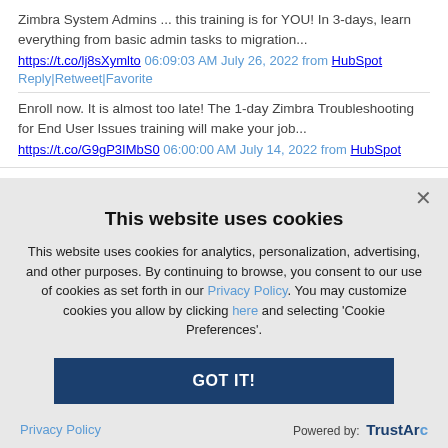Zimbra System Admins ... this training is for YOU! In 3-days, learn everything from basic admin tasks to migration...
https://t.co/lj8sXymlto 06:09:03 AM July 26, 2022 from HubSpot
Reply | Retweet | Favorite
Enroll now. It is almost too late! The 1-day Zimbra Troubleshooting for End User Issues training will make your job...
https://t.co/G9gP3IMbS0 06:00:00 AM July 14, 2022 from HubSpot
This website uses cookies
This website uses cookies for analytics, personalization, advertising, and other purposes. By continuing to browse, you consent to our use of cookies as set forth in our Privacy Policy. You may customize cookies you allow by clicking here and selecting 'Cookie Preferences'.
GOT IT!
Privacy Policy
Powered by: TrustArc